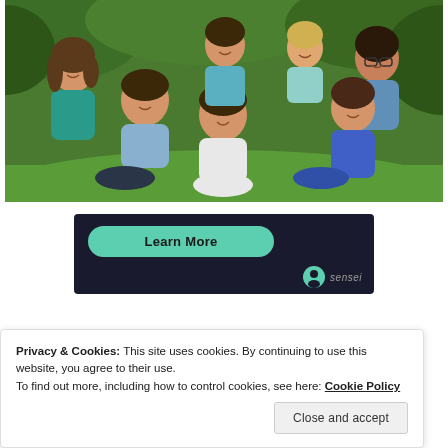[Figure (photo): Family photo of parents and multiple children sitting on grass outdoors, smiling. Lush green trees in background.]
[Figure (screenshot): Dark panel with a teal/green 'Learn More' pill-shaped button and a 'sensei' logo in the bottom right corner.]
Privacy & Cookies: This site uses cookies. By continuing to use this website, you agree to their use.
To find out more, including how to control cookies, see here: Cookie Policy
Close and accept